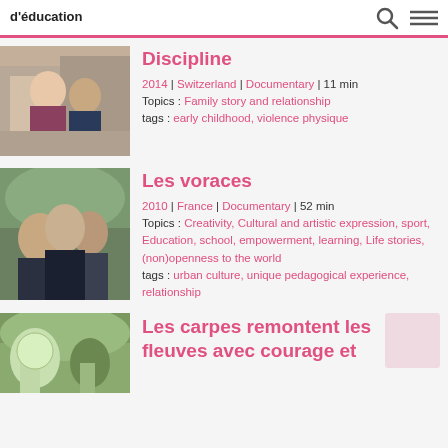d'éducation
[Figure (photo): Two children in a classroom, one wearing a red vest]
Discipline
2014 | Switzerland | Documentary | 11 min
Topics : Family story and relationship
tags : early childhood, violence physique
[Figure (photo): Group of young people outdoors, two facing each other closely]
Les voraces
2010 | France | Documentary | 52 min
Topics : Creativity, Cultural and artistic expression, sport, Education, school, empowerment, learning, Life stories, (non)openness to the world
tags : urban culture, unique pedagogical experience, relationship
[Figure (photo): Outdoor garden scene with a hammock chair]
Les carpes remontent les fleuves avec courage et